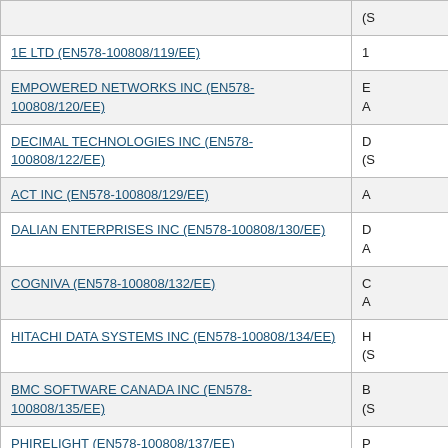| Supplier Name | Details |
| --- | --- |
| (S... | (S... |
| 1E LTD (EN578-100808/119/EE) | 1... |
| EMPOWERED NETWORKS INC (EN578-100808/120/EE) | E... A... |
| DECIMAL TECHNOLOGIES INC (EN578-100808/122/EE) | D... (S... |
| ACT INC (EN578-100808/129/EE) | A... |
| DALIAN ENTERPRISES INC (EN578-100808/130/EE) | D... A... |
| COGNIVA (EN578-100808/132/EE) | C... A... |
| HITACHI DATA SYSTEMS INC (EN578-100808/134/EE) | H... (S... |
| BMC SOFTWARE CANADA INC (EN578-100808/135/EE) | B... (S... |
| PHIRELIGHT (EN578-100808/137/EE) | P... P... S... |